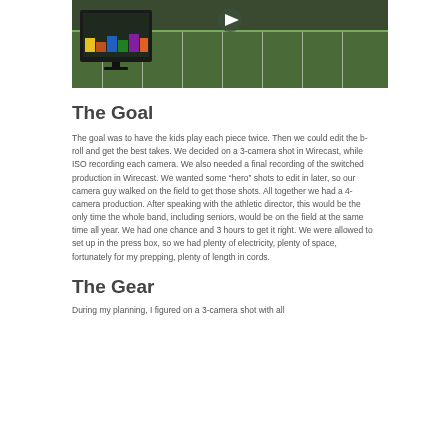[Figure (screenshot): Video thumbnail showing a football field aerial view and a computer monitor displaying video production software (Wirecast), with a play button overlay.]
The Goal
The goal was to have the kids play each piece twice. Then we could edit the b-roll and get the best takes. We decided on a 3-camera shot in Wirecast, while ISO recording each camera. We also needed a final recording of the switched production in Wirecast. We wanted some “hero” shots to edit in later, so our camera guy walked on the field to get those shots. All together we had a 4-camera production. After speaking with the athletic director, this would be the only time the whole band, including seniors, would be on the field at the same time all year. We had one chance and 3 hours to get it right. We were allowed to set up in the press box, so we had plenty of electricity, plenty of space, fortunately for my prepping, plenty of length in cords.
The Gear
During my planning, I figured on a 3-camera shot with all